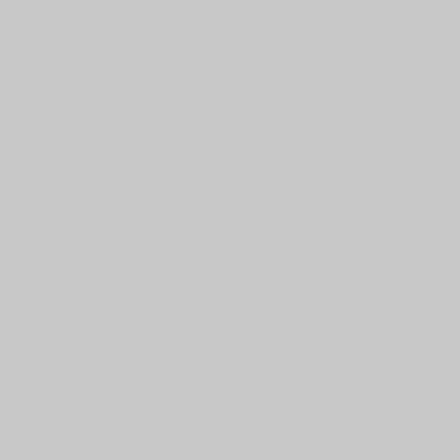delete the data from the company server or contact the company directly and ask them to delete your digital profile from their server/s and/or... THIS IS NOT A JOKE! As an added bonus, the "kicker" is that they have no control of deleting your profile from who they have already sold your data to, who have already bought it can do whatever with it. The data most people think is on their phone is on their phone. Their phone is a "portal" to data/information which is actually stored on servers in another state/country which is being sold to who you will never hear of and stored on their servers in states/countries...
Here's something even farther down the rabbit hole – you never agreed to the "Terms of Use" for this data. Thinking locally, all the new cameras being installed at lights – do you really believe you have a right to privacy? They know exactly who is going where and don't need probable cause for a warrant. They simply capture and store it directly to a data farm with no probable cause or warrant. They can then mine, scrape and forensicate at their own discretion – to "find" probable cause to use after the fact. The whole thing is ass-backw...
The new assumption here is that EVERYONE IS GUILTY until proven innocent. Like I said – ASS-BACKW...